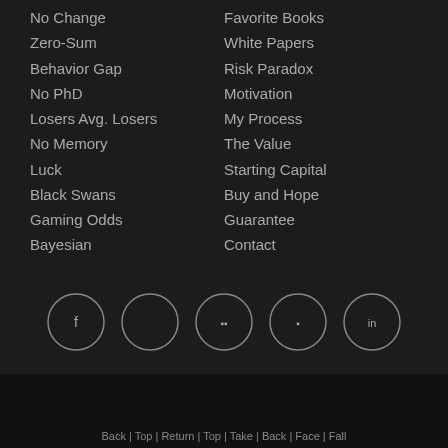No Change
Zero-Sum
Behavior Gap
No PhD
Losers Avg. Losers
No Memory
Luck
Black Swans
Gaming Odds
Bayesian
Favorite Books
White Papers
Risk Paradox
Motivation
My Process
The Value
Starting Capital
Buy and Hope
Guarantee
Contact
[Figure (infographic): Five social media icon circles (Facebook, Twitter/X, Instagram, Pinterest, LinkedIn) arranged horizontally]
Back | Top | Return | Top | Take | Back | Face | Fall